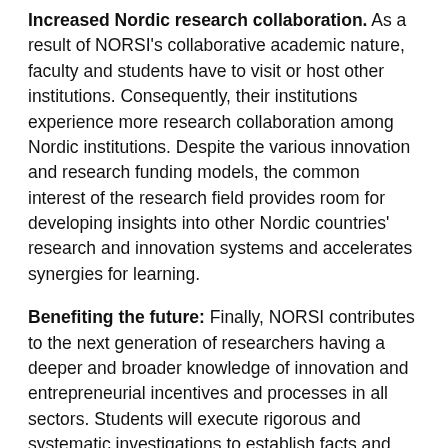Increased Nordic research collaboration: As a result of NORSI's collaborative academic nature, faculty and students have to visit or host other institutions. Consequently, their institutions experience more research collaboration among Nordic institutions. Despite the various innovation and research funding models, the common interest of the research field provides room for developing insights into other Nordic countries' research and innovation systems and accelerates synergies for learning.
Benefiting the future: Finally, NORSI contributes to the next generation of researchers having a deeper and broader knowledge of innovation and entrepreneurial incentives and processes in all sectors. Students will execute rigorous and systematic investigations to establish facts and reach new conclusions within innovation and entrepreneurship that will hopefully solve some of our current and future global challenges.